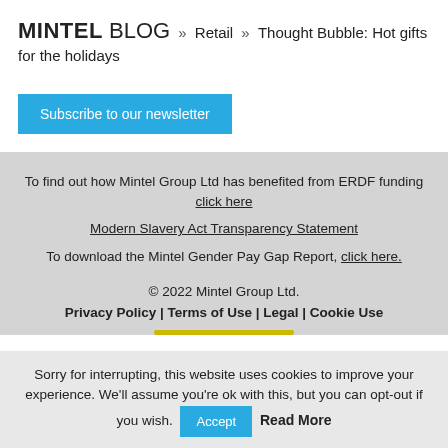MINTEL BLOG » Retail » Thought Bubble: Hot gifts for the holidays
Subscribe to our newsletter
To find out how Mintel Group Ltd has benefited from ERDF funding click here
Modern Slavery Act Transparency Statement
To download the Mintel Gender Pay Gap Report, click here.
© 2022 Mintel Group Ltd.
Privacy Policy | Terms of Use | Legal | Cookie Use
Sorry for interrupting, this website uses cookies to improve your experience. We'll assume you're ok with this, but you can opt-out if you wish. Accept Read More